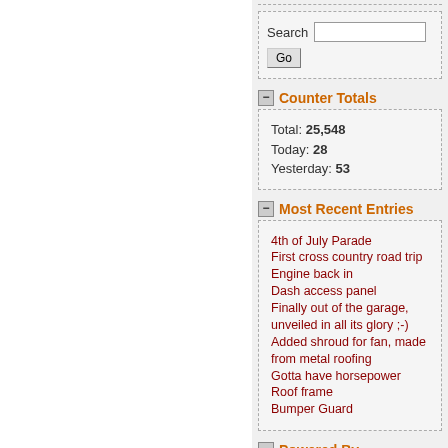Search
Search [input] Go
Counter Totals
Total: 25,548
Today: 28
Yesterday: 53
Most Recent Entries
4th of July Parade
First cross country road trip
Engine back in
Dash access panel
Finally out of the garage, unveiled in all its glory ;-)
Added shroud for fan, made from metal roofing
Gotta have horsepower
Roof frame
Bumper Guard
Powered By
[Figure (logo): SPB SPHPBLOG badge]
[Figure (logo): PHP POWERED badge]
[Figure (logo): TXT POWERED badge]